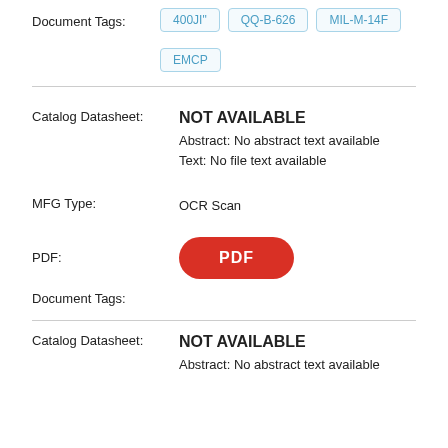Document Tags:
400JI" QQ-B-626 MIL-M-14F EMCP
Catalog Datasheet:
NOT AVAILABLE
Abstract: No abstract text available
Text: No file text available
MFG Type:
OCR Scan
PDF:
[Figure (other): Red PDF button]
Document Tags:
Catalog Datasheet:
NOT AVAILABLE
Abstract: No abstract text available